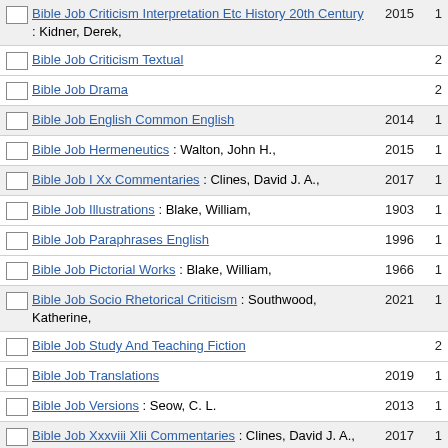Bible Job Criticism Interpretation Etc History 20th Century : Kidner, Derek, 2015 1
Bible Job Criticism Textual  2
Bible Job Drama  2
Bible Job English Common English  2014  1
Bible Job Hermeneutics : Walton, John H.,  2015  1
Bible Job I Xx Commentaries : Clines, David J. A.,  2017  1
Bible Job Illustrations : Blake, William,  1903  1
Bible Job Paraphrases English  1996  1
Bible Job Pictorial Works : Blake, William,  1966  1
Bible Job Socio Rhetorical Criticism : Southwood, Katherine,  2021  1
Bible Job Study And Teaching Fiction  2
Bible Job Translations  2019  1
Bible Job Versions : Seow, C. L.  2013  1
Bible Job Xxxviii Xlii Commentaries : Clines, David J. A.,  2017  1
Bible Jobus -- See Bible. Job  1
Bible Joel Commentaries  4